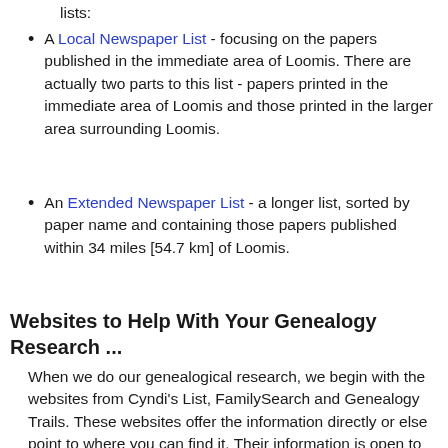lists:
A Local Newspaper List - focusing on the papers published in the immediate area of Loomis. There are actually two parts to this list - papers printed in the immediate area of Loomis and those printed in the larger area surrounding Loomis.
An Extended Newspaper List - a longer list, sorted by paper name and containing those papers published within 34 miles [54.7 km] of Loomis.
Websites to Help With Your Genealogy Research ...
When we do our genealogical research, we begin with the websites from Cyndi's List, FamilySearch and Genealogy Trails. These websites offer the information directly or else point to where you can find it. Their information is open to everyone.